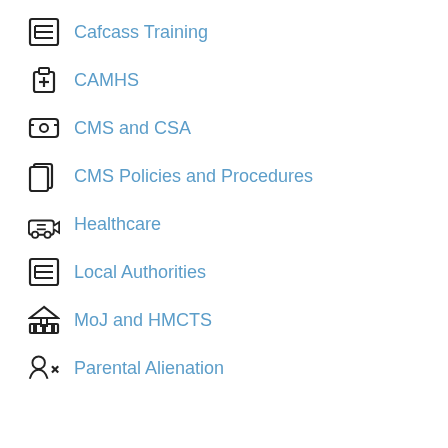Cafcass Training
CAMHS
CMS and CSA
CMS Policies and Procedures
Healthcare
Local Authorities
MoJ and HMCTS
Parental Alienation